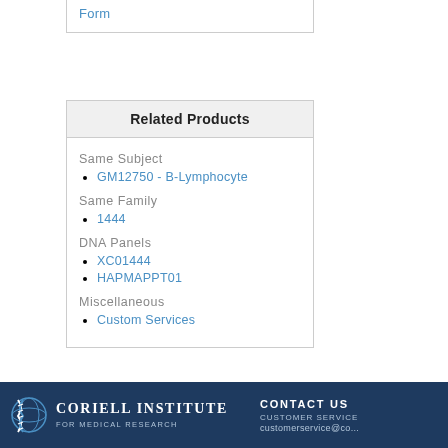Form
Related Products
Same Subject
GM12750 - B-Lymphocyte
Same Family
1444
DNA Panels
XC01444
HAPMAPPT01
Miscellaneous
Custom Services
Coriell Institute for Medical Research | CONTACT US | CUSTOMER SERVICE | customerservice@co...